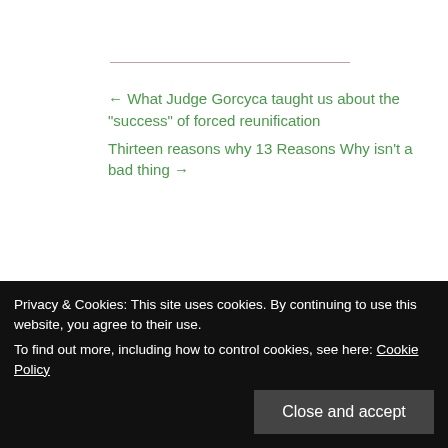← What Judge Gorcyca taught us about the "success" of forced reunification
Thirteen reasons why 13 Reasons Why isn't a bad thing →
Suspect abuse? Report it. If not because it's the right thing to do, then at least for the direct
"A Tallahassee teacher has been
Privacy & Cookies: This site uses cookies. By continuing to use this website, you agree to their use.
To find out more, including how to control cookies, see here: Cookie Policy
Close and accept